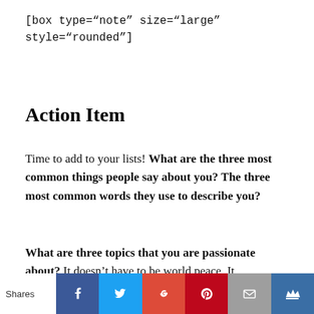[box type="note" size="large" style="rounded"]
Action Item
Time to add to your lists! What are the three most common things people say about you? The three most common words they use to describe you?
What are three topics that you are passionate about? It doesn't have to be world peace. It